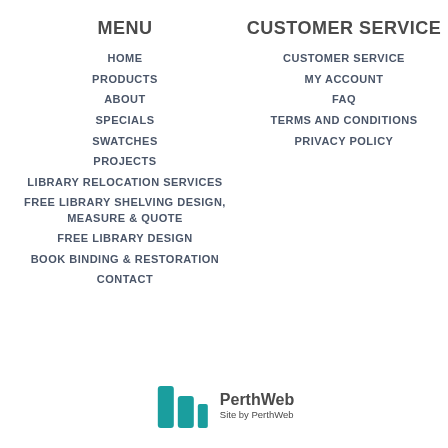MENU
HOME
PRODUCTS
ABOUT
SPECIALS
SWATCHES
PROJECTS
LIBRARY RELOCATION SERVICES
FREE LIBRARY SHELVING DESIGN, MEASURE & QUOTE
FREE LIBRARY DESIGN
BOOK BINDING & RESTORATION
CONTACT
CUSTOMER SERVICE
CUSTOMER SERVICE
MY ACCOUNT
FAQ
TERMS AND CONDITIONS
PRIVACY POLICY
[Figure (logo): PerthWeb logo with teal building/bar chart icon and text 'PerthWeb - Site by PerthWeb']